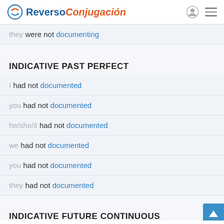Reverso Conjugación
they were not documenting
INDICATIVE PAST PERFECT
I had not documented
you had not documented
he/she/it had not documented
we had not documented
you had not documented
they had not documented
INDICATIVE FUTURE CONTINUOUS